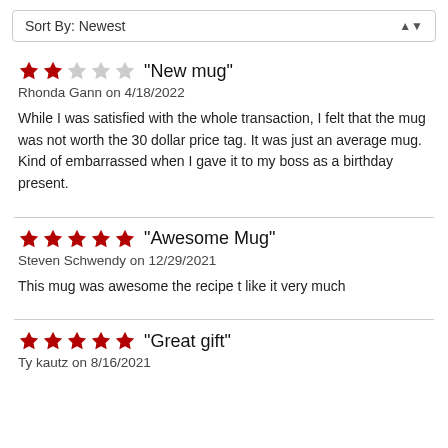Sort By: Newest
★★★☆☆ "New mug" — Rhonda Gann on 4/18/2022 — While I was satisfied with the whole transaction, I felt that the mug was not worth the 30 dollar price tag. It was just an average mug. Kind of embarrassed when I gave it to my boss as a birthday present.
★★★★★ "Awesome Mug" — Steven Schwendy on 12/29/2021 — This mug was awesome the recipe t like it very much
★★★★★ "Great gift" — Ty kautz on 8/16/2021